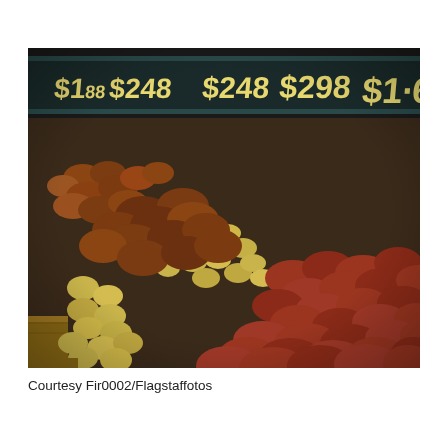[Figure (photo): A grocery store produce display showing bins of various types of potatoes — russet/brown potatoes, small yellow/gold potatoes, and red potatoes — piled in wooden bins. Price signs on a dark background overhead display prices: $2.48, $2.48, $2.98, and $1.6x (partially visible).]
Courtesy Fir0002/Flagstaffotos